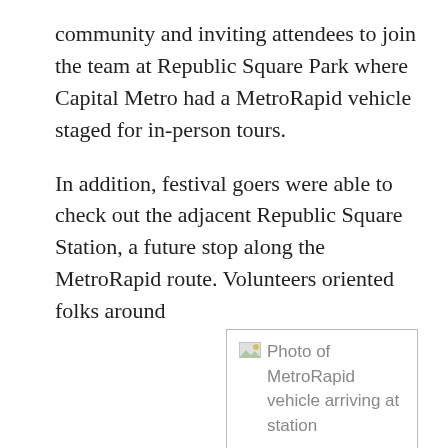community and inviting attendees to join the team at Republic Square Park where Capital Metro had a MetroRapid vehicle staged for in-person tours.
In addition, festival goers were able to check out the adjacent Republic Square Station, a future stop along the MetroRapid route. Volunteers oriented folks around the station, discussing all the cool, new features available, including an announcement button that tells passengers audibly when the next vehicle will arrive.
[Figure (photo): Photo of MetroRapid vehicle arriving at station]